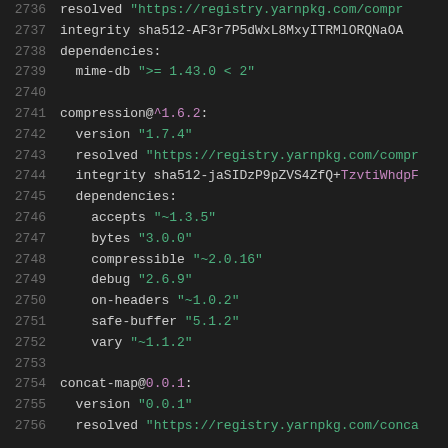2736    resolved "https://registry.yarnpkg.com/compr
2737    integrity sha512-AF3r7P5dWxL8MxyITRMlORQNaOA
2738    dependencies:
2739      mime-db ">= 1.43.0 < 2"
2740
2741  compression@^1.6.2:
2742    version "1.7.4"
2743    resolved "https://registry.yarnpkg.com/compr
2744    integrity sha512-jaSIDzP9pZVS4ZfQ+TzvtiWhdpF
2745    dependencies:
2746      accepts "~1.3.5"
2747      bytes "3.0.0"
2748      compressible "~2.0.16"
2749      debug "2.6.9"
2750      on-headers "~1.0.2"
2751      safe-buffer "5.1.2"
2752      vary "~1.1.2"
2753
2754  concat-map@0.0.1:
2755    version "0.0.1"
2756    resolved "https://registry.yarnpkg.com/conca